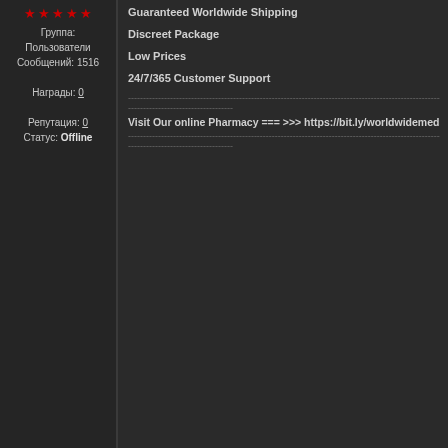★★★★★ Группа: Пользователи Сообщений: 1516 Награды: 0 Репутация: 0 Статус: Offline
Guaranteed Worldwide Shipping
Discreet Package
Low Prices
24/7/365 Customer Support
---------------------------------------------------------------------------------------------
Visit Our online Pharmacy === >>> https://bit.ly/worldwidemeds
---------------------------------------------------------------------------------------------